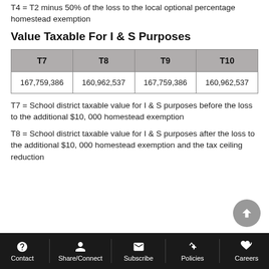T4 = T2 minus 50% of the loss to the local optional percentage homestead exemption
Value Taxable For I & S Purposes
| T7 | T8 | T9 | T10 |
| --- | --- | --- | --- |
| 167,759,386 | 160,962,537 | 167,759,386 | 160,962,537 |
T7 = School district taxable value for I & S purposes before the loss to the additional $10, 000 homestead exemption
T8 = School district taxable value for I & S purposes after the loss to the additional $10, 000 homestead exemption and the tax ceiling reduction
Contact  Share/Connect  Subscribe  Policies  Careers